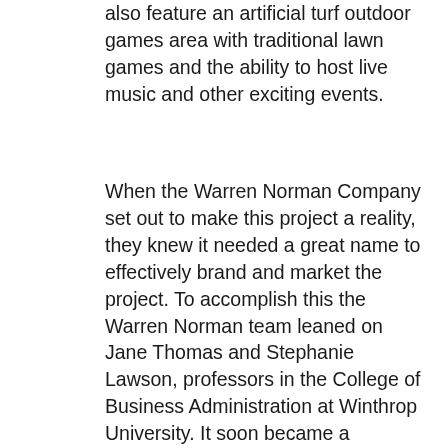also feature an artificial turf outdoor games area with traditional lawn games and the ability to host live music and other exciting events.
When the Warren Norman Company set out to make this project a reality, they knew it needed a great name to effectively brand and market the project. To accomplish this the Warren Norman team leaned on Jane Thomas and Stephanie Lawson, professors in the College of Business Administration at Winthrop University. It soon became a semester long project in a few of the higher-level classes to research and gather feedback from the Rock Hill community. After months of hard work, they presented many ideas and branding strategies, and ‘The Perch’ was chosen as recommended by Winthrop students.
With over +/- 27,725 SF of leasable space at The Perch there are many spaces available for a restaurant, office, or retail user. For more information on The